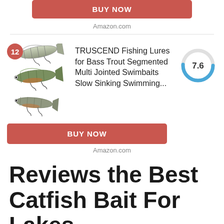[Figure (other): Red BUY NOW button (partial, top of page)]
Amazon.com
[Figure (photo): TRUSCEND fishing lures product image with rank badge 12]
TRUSCEND Fishing Lures for Bass Trout Segmented Multi Jointed Swimbaits Slow Sinking Swimming...
[Figure (other): Donut score circle showing 7.6]
[Figure (other): Red BUY NOW button]
Amazon.com
Reviews the Best Catfish Bait For Lakes